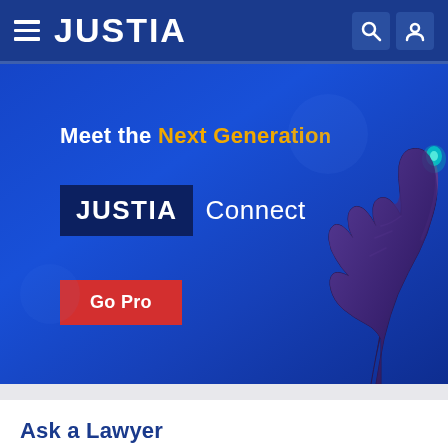JUSTIA
[Figure (screenshot): Justia Connect promotional banner with tagline 'Meet the Next Generation' and 'JUSTIA Connect' branding, featuring a hand pointing graphic and a 'Go Pro' button on a blue gradient background]
Ask a Lawyer